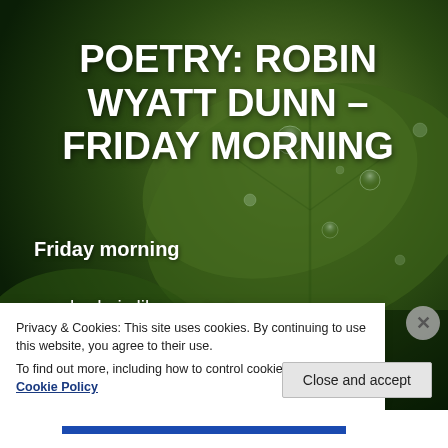[Figure (photo): Green leaf with water droplets, dark green background with bokeh]
POETRY: ROBIN WYATT DUNN – FRIDAY MORNING
Friday morning
no shade is like my own
my leather chair
my birth
for what it's worth I'm older now
Privacy & Cookies: This site uses cookies. By continuing to use this website, you agree to their use.
To find out more, including how to control cookies, see here: Cookie Policy
Close and accept